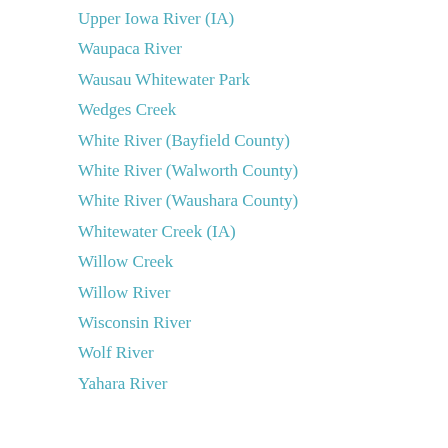Upper Iowa River (IA)
Waupaca River
Wausau Whitewater Park
Wedges Creek
White River (Bayfield County)
White River (Walworth County)
White River (Waushara County)
Whitewater Creek (IA)
Willow Creek
Willow River
Wisconsin River
Wolf River
Yahara River